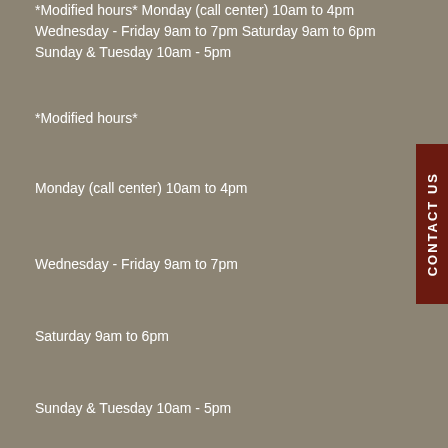*Modified hours* Monday (call center) 10am to 4pm Wednesday - Friday 9am to 7pm Saturday 9am to 6pm Sunday & Tuesday 10am - 5pm
*Modified hours*
Monday (call center) 10am to 4pm
Wednesday - Friday 9am to 7pm
Saturday 9am to 6pm
Sunday & Tuesday 10am - 5pm